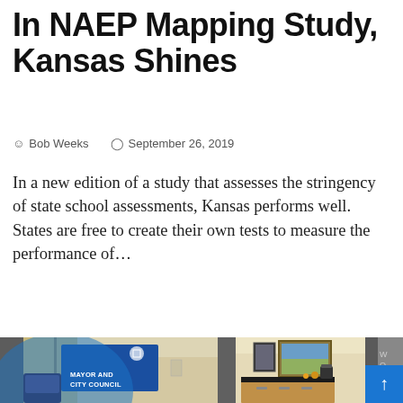In NAEP Mapping Study, Kansas Shines
Bob Weeks   September 26, 2019
In a new edition of a study that assesses the stringency of state school assessments, Kansas performs well. States are free to create their own tests to measure the performance of...
[Figure (photo): Interior office photo showing a room with a blue 'Mayor and City Council' banner/sign, a blue chair, a picture frame on the wall, a cabinet with a coffee thermos on top, and a blue scroll-to-top button overlay.]